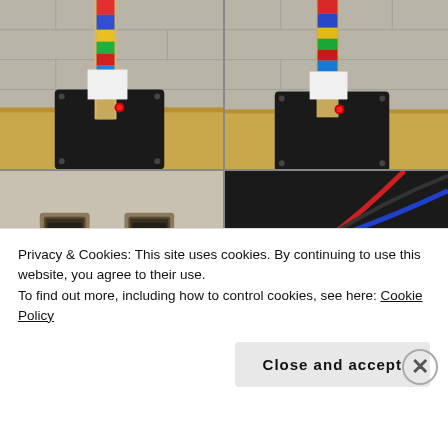[Figure (photo): Top-left photo: A colorful decorated board/guitar neck standing upright on a wooden box, with a black panel and a red LED button visible. Cinder block wall in background.]
[Figure (photo): Top-right photo: Similar angle of the same device - colorful decorated board standing on wooden box, black panel with red LED, cinder block wall background.]
[Figure (photo): Bottom-left photo: Close-up of two USB ports on a beige/silver surface labeled 'LED' and '5v' in white handwriting on the dark panel below.]
[Figure (photo): Bottom-right photo: Close-up of wiring on a black panel showing red, blue, yellow wires secured with a screw/bolt.]
Privacy & Cookies: This site uses cookies. By continuing to use this website, you agree to their use.
To find out more, including how to control cookies, see here: Cookie Policy
Close and accept